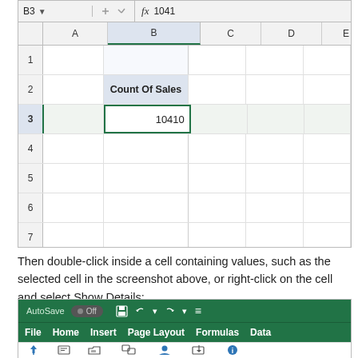[Figure (screenshot): Excel spreadsheet showing cell B3 selected with value 10410 and header 'Count Of Sales' in B2, formula bar showing B3 = 1041...]
Then double-click inside a cell containing values, such as the selected cell in the screenshot above, or right-click on the cell and select Show Details:
[Figure (screenshot): Excel ribbon showing AutoSave off toggle, File/Home/Insert/Page Layout/Formulas/Data tabs, and toolbar icons for Pin, Open, Connect, Profile, Update, About]